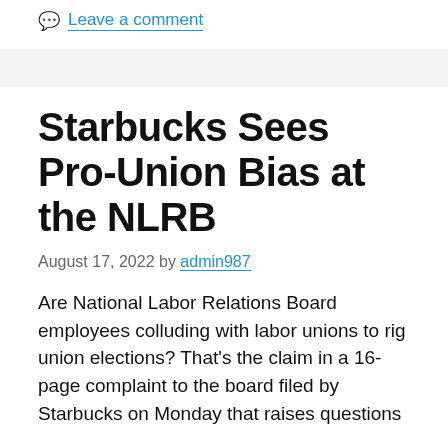Leave a comment
Starbucks Sees Pro-Union Bias at the NLRB
August 17, 2022 by admin987
Are National Labor Relations Board employees colluding with labor unions to rig union elections? That’s the claim in a 16-page complaint to the board filed by Starbucks on Monday that raises questions